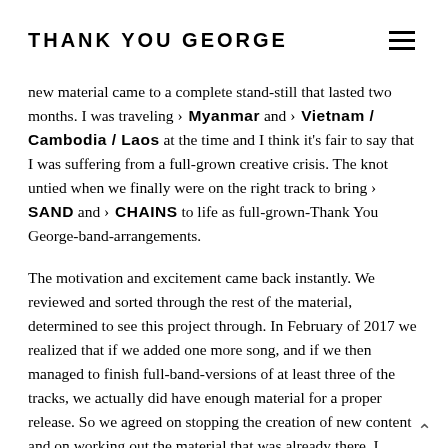THANK YOU GEORGE
new material came to a complete stand-still that lasted two months. I was traveling › Myanmar and › Vietnam / Cambodia / Laos at the time and I think it's fair to say that I was suffering from a full-grown creative crisis. The knot untied when we finally were on the right track to bring › SAND and › CHAINS to life as full-grown-Thank You George-band-arrangements.
The motivation and excitement came back instantly. We reviewed and sorted through the rest of the material, determined to see this project through. In February of 2017 we realized that if we added one more song, and if we then managed to finish full-band-versions of at least three of the tracks, we actually did have enough material for a proper release. So we agreed on stopping the creation of new content and on working out the material that was already there. I finished › BREATHE, a song I had started during the recording sessions at Brownstone Studios in Bangkok, and I wrote an Intro and an Outro. Meanwhile Ali and Jan started meeting regularly to figure out the drum- and bass lines for › SAND, › CHAINS and › SKY / OCEAN. In the following weeks we worked our way through an almost ridiculous amount of quick-and-dirty recordings exchanged in lengthy discussions in our band chat. As with our first record "Bleed